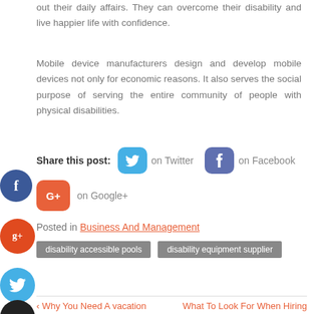out their daily affairs. They can overcome their disability and live happier life with confidence.
Mobile device manufacturers design and develop mobile devices not only for economic reasons. It also serves the social purpose of serving the entire community of people with physical disabilities.
Share this post: on Twitter  on Facebook  on Google+
Posted in Business And Management
disability accessible pools   disability equipment supplier
< Why You Need A vacation   What To Look For When Hiring